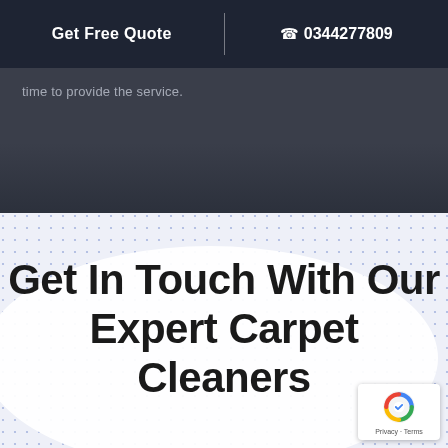Get Free Quote | 0344277809
time to provide the service.
Get In Touch With Our Expert Carpet Cleaners
[Figure (logo): reCAPTCHA logo with Privacy and Terms links]